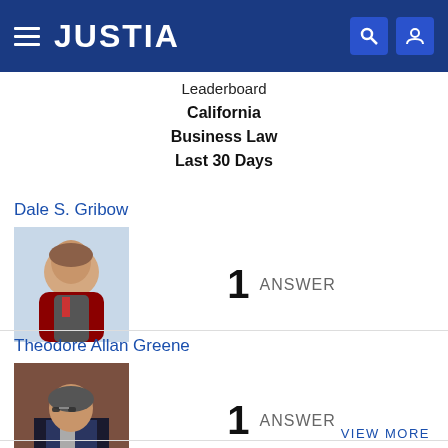JUSTIA
Leaderboard
California
Business Law
Last 30 Days
Dale S. Gribow
[Figure (photo): Professional headshot of Dale S. Gribow, a man in a suit with a tie, light background]
1 ANSWER
Theodore Allan Greene
[Figure (photo): Professional headshot of Theodore Allan Greene, a man in a dark suit with glasses, indoor background]
1 ANSWER
VIEW MORE